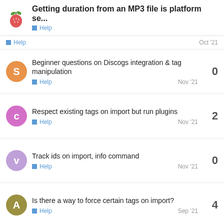Getting duration from an MP3 file is platform se... / Help
Help · Oct '21
Beginner questions on Discogs integration & tag manipulation · Help · Nov '21 · 0 replies
Respect existing tags on import but run plugins · Help · Nov '21 · 2 replies
Track ids on import, info command · Help · Nov '21 · 0 replies
Is there a way to force certain tags on import? · Help · Sep '21 · 4 replies
Want to read more? Browse other topics in Help